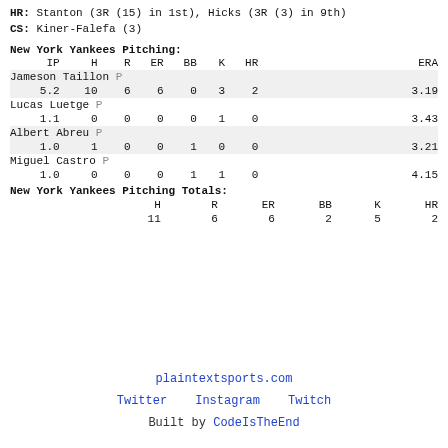HR: Stanton (3R (15) in 1st), Hicks (3R (3) in 9th)
CS: Kiner-Falefa (3)
New York Yankees Pitching:
|  | IP | H | R | ER | BB | K | HR |  | ERA |
| --- | --- | --- | --- | --- | --- | --- | --- | --- | --- |
| Jameson Taillon P |  |  |  |  |  |  |  |  |  |
|  | 5.2 | 10 | 6 | 6 | 0 | 3 | 2 |  | 3.19 |
| Lucas Luetge P |  |  |  |  |  |  |  |  |  |
|  | 1.1 | 0 | 0 | 0 | 0 | 1 | 0 |  | 3.43 |
| Albert Abreu P |  |  |  |  |  |  |  |  |  |
|  | 1.0 | 1 | 0 | 0 | 1 | 0 | 0 |  | 3.21 |
| Miguel Castro P |  |  |  |  |  |  |  |  |  |
|  | 1.0 | 0 | 0 | 0 | 1 | 1 | 0 |  | 4.15 |
|  | H | R | ER | BB | K | HR |
| --- | --- | --- | --- | --- | --- | --- |
| New York Yankees Pitching Totals: |  |  |  |  |  |  |
|  | 11 | 6 | 6 | 2 | 5 | 2 |
plaintextsports.com
Twitter   Instagram   Twitch
Built by CodeIsIsTheEnd